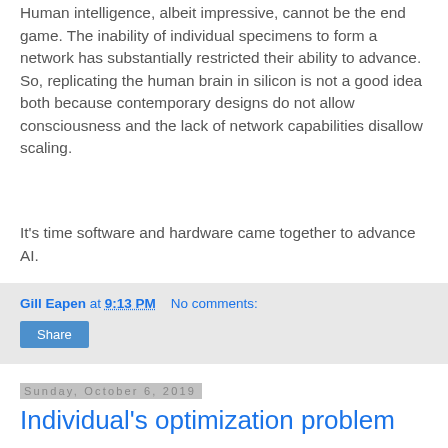Human intelligence, albeit impressive, cannot be the end game. The inability of individual specimens to form a network has substantially restricted their ability to advance. So, replicating the human brain in silicon is not a good idea both because contemporary designs do not allow consciousness and the lack of network capabilities disallow scaling.
It's time software and hardware came together to advance AI.
Gill Eapen at 9:13 PM   No comments:
Share
Sunday, October 6, 2019
Individual's optimization problem
A human has a relatively simple optimization problem. Each specimen is expected to be alive less than 30K days, divided into 3 horizons. In the first 10K days, they rely on somebody else to survive and live. In the next 10K days,